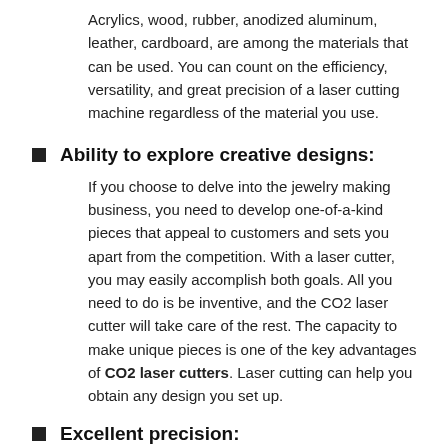Acrylics, wood, rubber, anodized aluminum, leather, cardboard, are among the materials that can be used. You can count on the efficiency, versatility, and great precision of a laser cutting machine regardless of the material you use.
Ability to explore creative designs:
If you choose to delve into the jewelry making business, you need to develop one-of-a-kind pieces that appeal to customers and sets you apart from the competition. With a laser cutter, you may easily accomplish both goals. All you need to do is be inventive, and the CO2 laser cutter will take care of the rest. The capacity to make unique pieces is one of the key advantages of CO2 laser cutters. Laser cutting can help you obtain any design you set up.
Excellent precision: